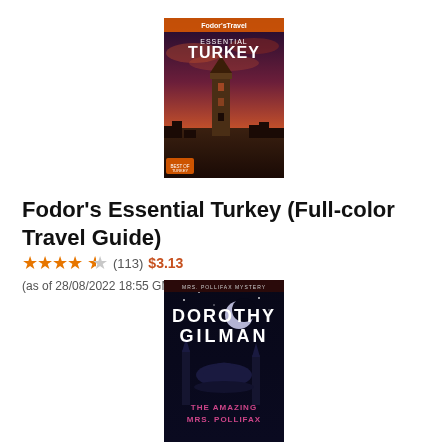[Figure (illustration): Book cover of Fodor's Essential Turkey travel guide showing a tower (Galata Tower) against a dramatic red-purple sunset sky, with 'ESSENTIAL TURKEY' text in white and Fodor's Travel logo at top]
Fodor's Essential Turkey (Full-color Travel Guide)
★★★★½ (113) $3.13 (as of 28/08/2022 18:55 GMT +03:00 - More info)
[Figure (illustration): Book cover of Dorothy Gilman novel with dark background showing minarets and a moon, titled 'The Amazing Mrs. Pollifax' with author name in large white letters]